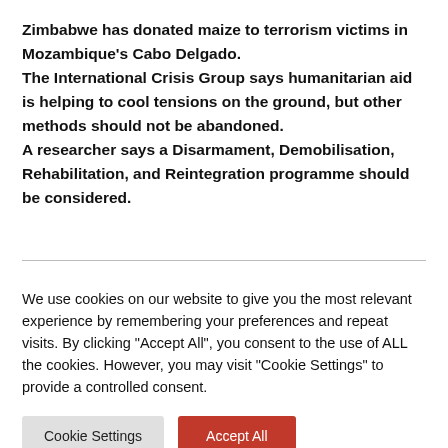Zimbabwe has donated maize to terrorism victims in Mozambique's Cabo Delgado. The International Crisis Group says humanitarian aid is helping to cool tensions on the ground, but other methods should not be abandoned. A researcher says a Disarmament, Demobilisation, Rehabilitation, and Reintegration programme should be considered.
We use cookies on our website to give you the most relevant experience by remembering your preferences and repeat visits. By clicking "Accept All", you consent to the use of ALL the cookies. However, you may visit "Cookie Settings" to provide a controlled consent.